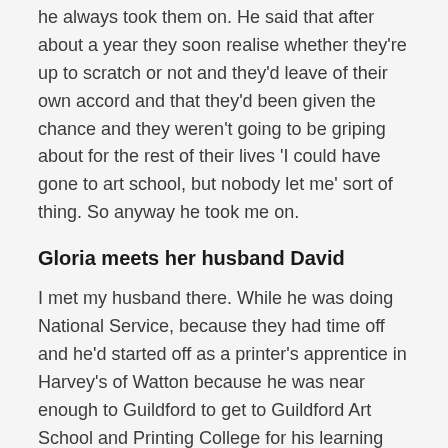he always took them on. He said that after about a year they soon realise whether they're up to scratch or not and they'd leave of their own accord and that they'd been given the chance and they weren't going to be griping about for the rest of their lives 'I could have gone to art school, but nobody let me' sort of thing. So anyway he took me on.
Gloria meets her husband David
I met my husband there. While he was doing National Service, because they had time off and he'd started off as a printer's apprentice in Harvey's of Watton because he was near enough to Guildford to get to Guildford Art School and Printing College for his learning time off. So he'd learned quite a lot there and he wanted to carry on learning like that